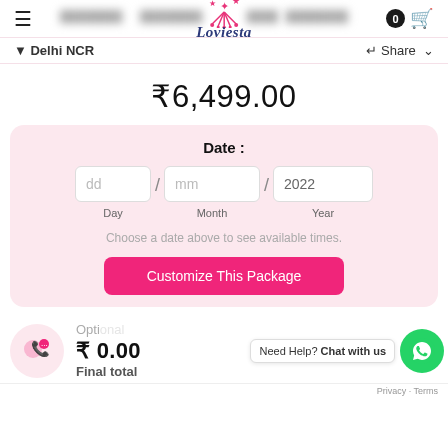Loviesta — navigation header with hamburger menu, logo, and cart (0 items)
Delhi NCR   Share
₹6,499.00
Date :
dd / mm / 2022 — Day / Month / Year
Choose a date above to see available times.
Customize This Package
Opti  Need Help? Chat with us
₹ 0.00
Final total
Privacy · Terms